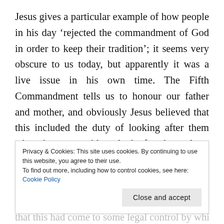Jesus gives a particular example of how people in his day ‘rejected the commandment of God in order to keep their tradition’; it seems very obscure to us today, but apparently it was a live issue in his own time. The Fifth Commandment tells us to honour our father and mother, and obviously Jesus believed that this included the duty of looking after them when they are unable to look after themselves. However, there was apparently a way that children who wanted to avoid this responsibility could do so. They simply declared their wealth to be
Privacy & Cookies: This site uses cookies. By continuing to use this website, you agree to their use.
To find out more, including how to control cookies, see here: Cookie Policy
Close and accept